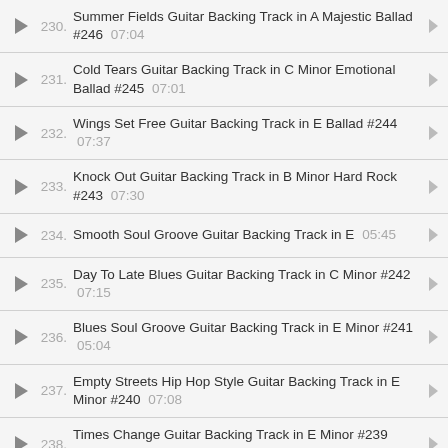230. Summer Fields Guitar Backing Track in A Majestic Ballad #246 07:04
231. Cold Tears Guitar Backing Track in C Minor Emotional Ballad #245 07:01
232. Wings Set Free Guitar Backing Track in E Ballad #244 07:37
233. Knock Out Guitar Backing Track in B Minor Hard Rock #243 07:30
234. Smooth Soul Groove Guitar Backing Track in E 05:45
235. Day To Late Blues Guitar Backing Track in C Minor #242 07:15
236. Blues Soul Groove Guitar Backing Track in E Minor #241 05:04
237. Empty Streets Hip Hop Style Guitar Backing Track in E Minor #240 07:08
238. Times Change Guitar Backing Track in E Minor #239 07:11